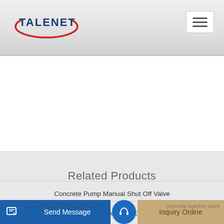[Figure (logo): TALENET logo with red ellipse accent and dark blue bold text]
[Figure (other): Hamburger menu button (three horizontal lines) in white rounded box]
Related Products
Concrete Pump Manual Shut Off Valve
Saic X300 Betonmixer Truck 4cbm Euro 5 Factory Direct
Send Message | Inquiry Online | concrete batching plant 75m3 | concrete batcher plant